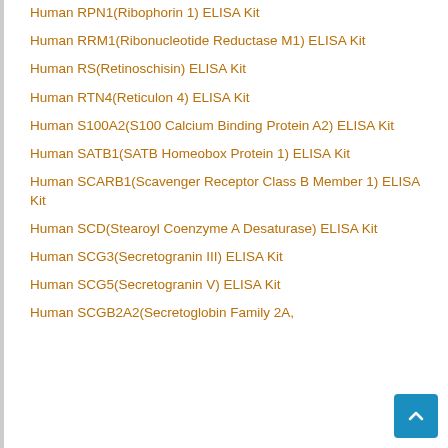Human RPN1(Ribophorin 1) ELISA Kit
Human RRM1(Ribonucleotide Reductase M1) ELISA Kit
Human RS(Retinoschisin) ELISA Kit
Human RTN4(Reticulon 4) ELISA Kit
Human S100A2(S100 Calcium Binding Protein A2) ELISA Kit
Human SATB1(SATB Homeobox Protein 1) ELISA Kit
Human SCARB1(Scavenger Receptor Class B Member 1) ELISA Kit
Human SCD(Stearoyl Coenzyme A Desaturase) ELISA Kit
Human SCG3(Secretogranin III) ELISA Kit
Human SCG5(Secretogranin V) ELISA Kit
Human SCGB2A2(Secretoglobin Family 2A,